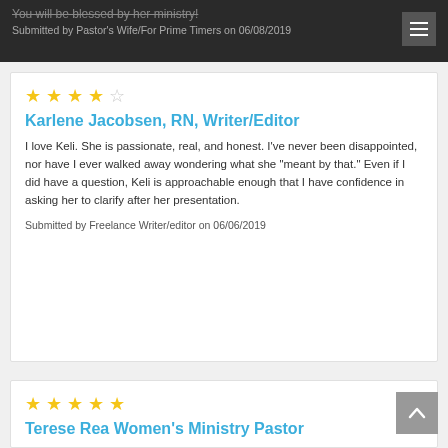You will be blessed by her ministry! Submitted by Pastor's Wife/For Prime Timers on 06/08/2019
⭐⭐⭐⭐☆
Karlene Jacobsen, RN, Writer/Editor
I love Keli. She is passionate, real, and honest. I've never been disappointed, nor have I ever walked away wondering what she "meant by that." Even if I did have a question, Keli is approachable enough that I have confidence in asking her to clarify after her presentation.
Submitted by Freelance Writer/editor on 06/06/2019
⭐⭐⭐⭐⭐
Terese Rea Women's Ministry Pastor